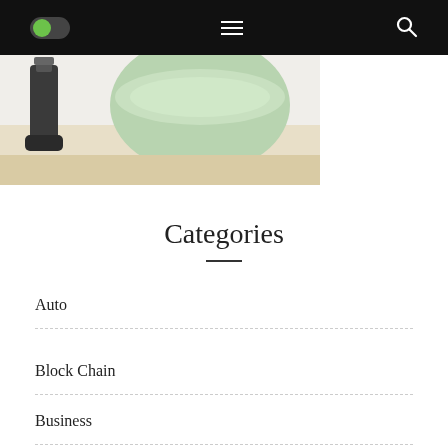[Figure (screenshot): Navigation bar with green toggle switch, hamburger menu icon, and search icon on black background]
[Figure (photo): Partial photo of kitchen items including a dark blender/appliance and a green ceramic bowl on a light surface]
Categories
Auto
Block Chain
Business